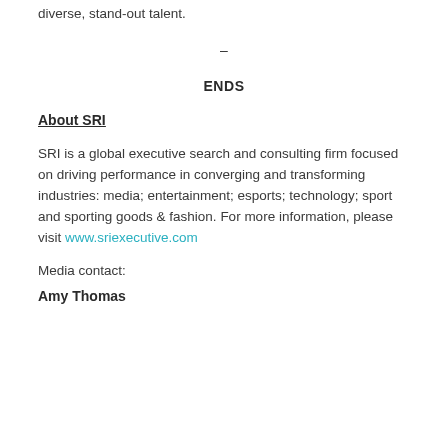diverse, stand-out talent.
–
ENDS
About SRI
SRI is a global executive search and consulting firm focused on driving performance in converging and transforming industries: media; entertainment; esports; technology; sport and sporting goods & fashion. For more information, please visit www.sriexecutive.com
Media contact:
Amy Thomas